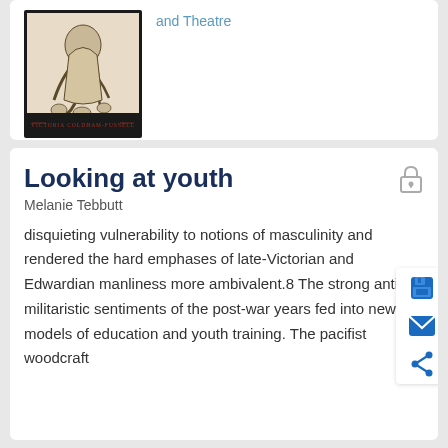[Figure (illustration): Book cover illustration showing a figure with snakes, black and white engraving style, with text 'VICTORIA COLDHAM-FUSSELL' at bottom]
and Theatre
Looking at youth
Melanie Tebbutt
disquieting vulnerability to notions of masculinity and rendered the hard emphases of late-Victorian and Edwardian manliness more ambivalent.8 The strong anti-militaristic sentiments of the post-war years fed into new models of education and youth training. The pacifist woodcraft